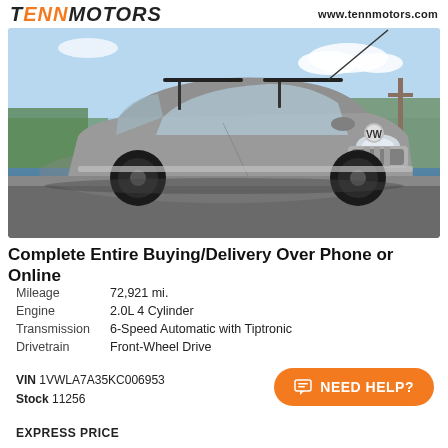TENNMOTORS — www.tennmotors.com
[Figure (photo): Silver/gray Volkswagen Passat sedan with black wheels and roof rack bars parked on a lot, front 3/4 view, green trees and blue sky in background]
Complete Entire Buying/Delivery Over Phone or Online
| Mileage | 72,921 mi. |
| Engine | 2.0L 4 Cylinder |
| Transmission | 6-Speed Automatic with Tiptronic |
| Drivetrain | Front-Wheel Drive |
VIN 1VWLA7A35KC006953
Stock 11256
NEED HELP?
EXPRESS PRICE